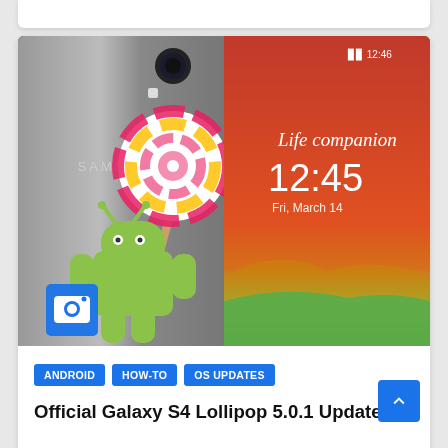[Figure (screenshot): Samsung Galaxy S4 smartphone showing Android Lollipop 5.0.1 promotional image. Left half shows the metallic back of the Samsung Galaxy S4 with the Android Lollipop mascot (green android robot holding a lollipop candy on a stick). A blue camera icon overlay is visible bottom-left. Right half shows the phone screen with a red/orange artistic wallpaper showing '12:45 Fri, March 14' and 'Life companion' text. A blue camera shortcut button is visible.]
ANDROID
HOW-TO
OS UPDATES
Official Galaxy S4 Lollipop 5.0.1 Update